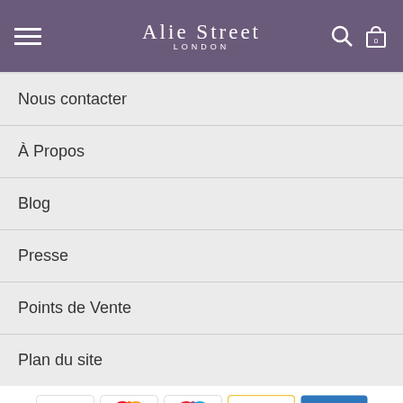Alie Street LONDON
Nous contacter
À Propos
Blog
Presse
Points de Vente
Plan du site
[Figure (logo): Payment method logos: VISA, Mastercard, Maestro, PayPal, American Express]
Droits d'auteur © 2002-2022 Tiffany Rose Ltd. Tous Droits Réservés.
Company No. 6893999 | VAT FR 03819186628
Conditions Générales | Politique de confidentialité
Paramètres des Cookies